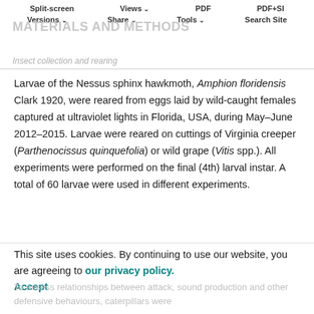Split-screen   Views   PDF   PDF+SI   Versions   Share   Tools   Search Site
MATERIALS AND METHODS
Insect collection and rearing
Larvae of the Nessus sphinx hawkmoth, Amphion floridensis Clark 1920, were reared from eggs laid by wild-caught females captured at ultraviolet lights in Florida, USA, during May–June 2012–2015. Larvae were reared on cuttings of Virginia creeper (Parthenocissus quinquefolia) or wild grape (Vitis spp.). All experiments were performed on the final (4th) larval instar. A total of 60 larvae were used in different experiments.
This site uses cookies. By continuing to use our website, you are agreeing to our privacy policy. Accept
To assess relationships between attack, sound production and other defensive behaviours, caterpillars were